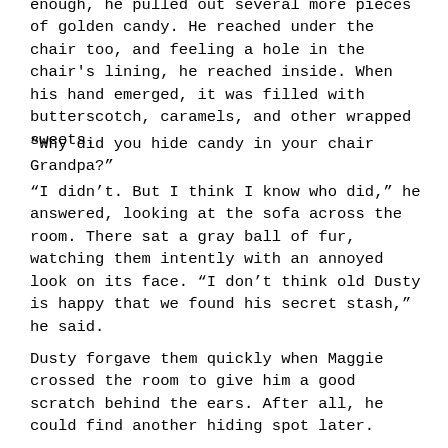enough, he pulled out several more pieces of golden candy. He reached under the chair too, and feeling a hole in the chair's lining, he reached inside. When his hand emerged, it was filled with butterscotch, caramels, and other wrapped sweets.
“Why did you hide candy in your chair Grandpa?”
“I didn’t. But I think I know who did,” he answered, looking at the sofa across the room. There sat a gray ball of fur, watching them intently with an annoyed look on its face. “I don’t think old Dusty is happy that we found his secret stash,” he said.
Dusty forgave them quickly when Maggie crossed the room to give him a good scratch behind the ears. After all, he could find another hiding spot later.